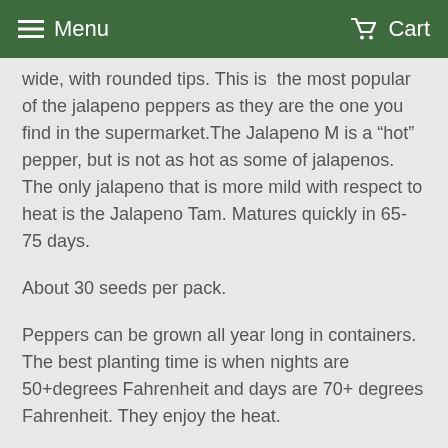Menu   Cart
wide, with rounded tips. This is  the most popular of the jalapeno peppers as they are the one you find in the supermarket.The Jalapeno M is a “hot” pepper, but is not as hot as some of jalapenos. The only jalapeno that is more mild with respect to heat is the Jalapeno Tam. Matures quickly in 65-75 days.
About 30 seeds per pack.
Peppers can be grown all year long in containers. The best planting time is when nights are 50+degrees Fahrenheit and days are 70+ degrees Fahrenheit. They enjoy the heat.
START INDOORS: 8-12 weeks before night reach 50 degrees Fahrenheit.
GERMINATION: 10-14 Days
PLANT OUTDOORS: 12-24" Apart